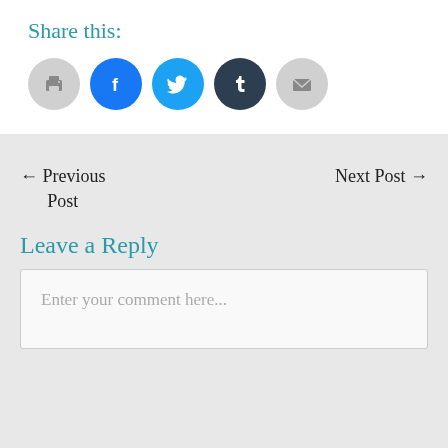Share this:
[Figure (infographic): Row of five social sharing icon buttons: print (gray circle), Facebook (blue circle), Twitter (light blue circle), Tumblr (dark navy circle), Email (gray circle)]
← Previous Post
Next Post →
Leave a Reply
Enter your comment here...